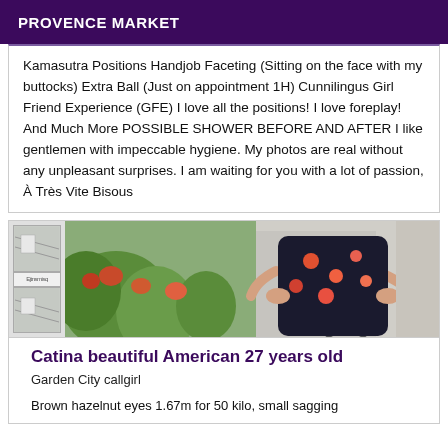PROVENCE MARKET
Kamasutra Positions Handjob Faceting (Sitting on the face with my buttocks) Extra Ball (Just on appointment 1H) Cunnilingus Girl Friend Experience (GFE) I love all the positions! I love foreplay! And Much More POSSIBLE SHOWER BEFORE AND AFTER I like gentlemen with impeccable hygiene. My photos are real without any unpleasant surprises. I am waiting for you with a lot of passion, À Très Vite Bisous
[Figure (photo): Photo of a woman in a floral dress standing near plants and a bicycle, with thumbnail images on the left side]
Catina beautiful American 27 years old
Garden City callgirl
Brown hazelnut eyes 1.67m for 50 kilo, small sagging